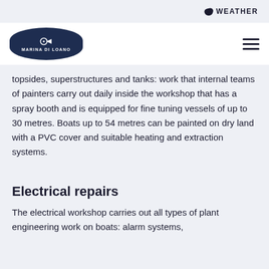WEATHER
[Figure (logo): Marina di Loano logo — dark navy shield/ellipse shape with a compass/arrow icon and text MARINA DI LOANO]
topsides, superstructures and tanks: work that internal teams of painters carry out daily inside the workshop that has a spray booth and is equipped for fine tuning vessels of up to 30 metres. Boats up to 54 metres can be painted on dry land with a PVC cover and suitable heating and extraction systems.
Electrical repairs
The electrical workshop carries out all types of plant engineering work on boats: alarm systems,